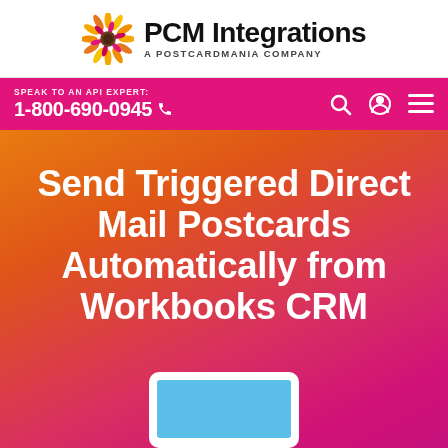PCM Integrations — A POSTCARDMANIA COMPANY
SPEAK TO AN API EXPERT: 1-800-690-0945
Send Triggered Direct Mail Postcards Automatically from Workbooks CRM
[Figure (screenshot): Partial screenshot of a tablet/laptop device at the bottom of the hero section]